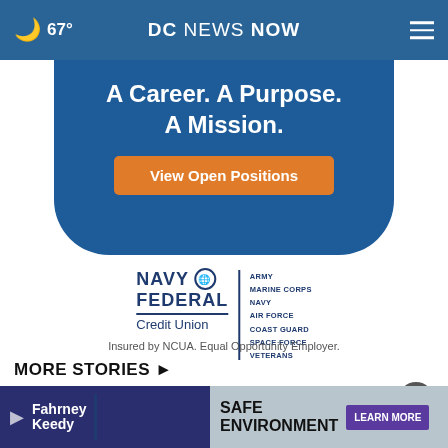67° DC NEWS NOW
[Figure (infographic): Navy Federal Credit Union advertisement banner: 'A Career. A Purpose. A Mission.' with 'View Open Positions' orange button on dark blue background with rounded bottom corners]
[Figure (logo): Navy Federal Credit Union logo with globe icon, name in navy blue, and branch list: ARMY, MARINE CORPS, NAVY, AIR FORCE, COAST GUARD, SPACE FORCE, VETERANS]
Insured by NCUA. Equal Opportunity Employer.
MORE STORIES ▶
[Figure (screenshot): Bottom strip with two ads: Fahrney Keedy (dark blue/purple background with logo) on left, and Safe Environment / Learn More ad on right showing a house photo]